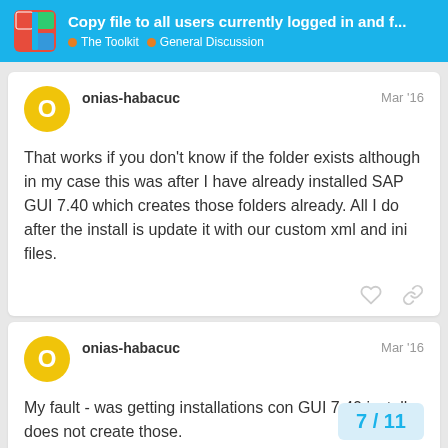Copy file to all users currently logged in and f... | The Toolkit | General Discussion
onias-habacuc
Mar '16
That works if you don't know if the folder exists although in my case this was after I have already installed SAP GUI 7.40 which creates those folders already. All I do after the install is update it with our custom xml and ini files.
onias-habacuc
Mar '16
My fault - was getting installations con GUI 7.40 install does not create those.
7 / 11